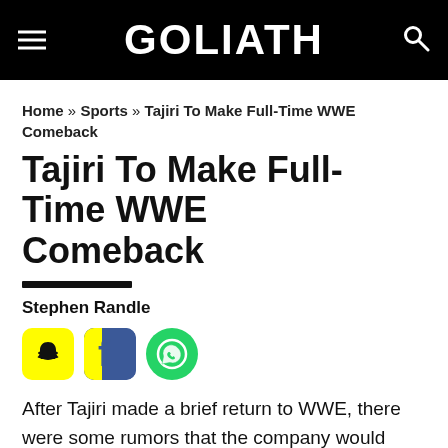GOLIATH
Home » Sports » Tajiri To Make Full-Time WWE Comeback
Tajiri To Make Full-Time WWE Comeback
Stephen Randle
[Figure (other): Social share icons: Snapchat (yellow), Facebook (blue), WhatsApp (green circle)]
After Tajiri made a brief return to WWE, there were some rumors that the company would want to bring him back as a veteran presence, either to fill out the rosters following the brand split, or as part of the new Cruiserweight Division. While his actual role hasn't been